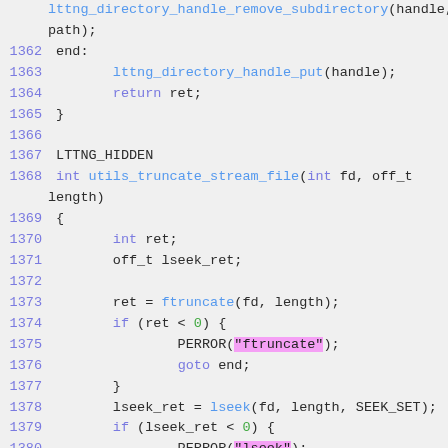[Figure (screenshot): Source code listing showing C code lines 1362-1383, including lttng_directory_handle_remove_subdirectory, lttng_directory_handle_put, utils_truncate_stream_file function with ftruncate and lseek calls]